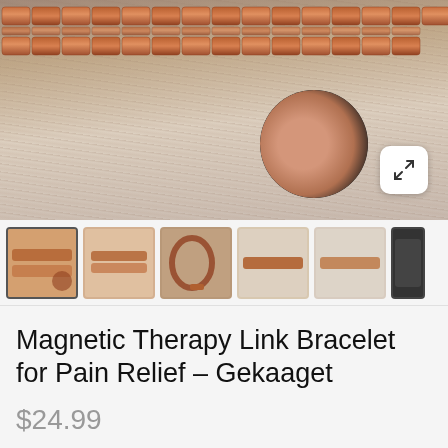[Figure (photo): Main product photo of copper magnetic link bracelet laid flat on wooden surface with circular inset thumbnail showing bracelet worn on wrist]
[Figure (photo): Thumbnail strip showing 6 views of the Magnetic Therapy Link Bracelet in copper/rose gold tone]
Magnetic Therapy Link Bracelet for Pain Relief – Gekaaget
$24.99